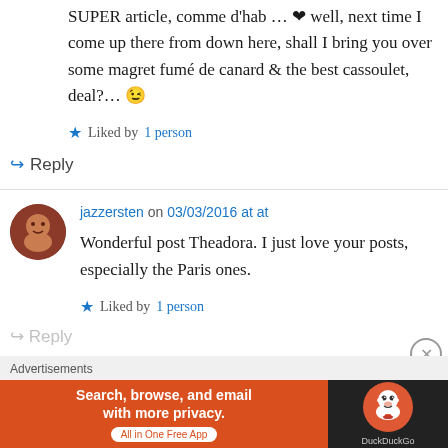SUPER article, comme d'hab … ❤ well, next time I come up there from down here, shall I bring you over some magret fumé de canard & the best cassoulet, deal?… 😉
★ Liked by 1 person
↪ Reply
jazzersten on 03/03/2016 at at
Wonderful post Theadora. I just love your posts, especially the Paris ones.
★ Liked by 1 person
↪ Reply
Advertisements
[Figure (infographic): DuckDuckGo advertisement banner: orange left side with text 'Search, browse, and email with more privacy. All in One Free App' and dark right side with DuckDuckGo duck logo and text 'DuckDuckGo']